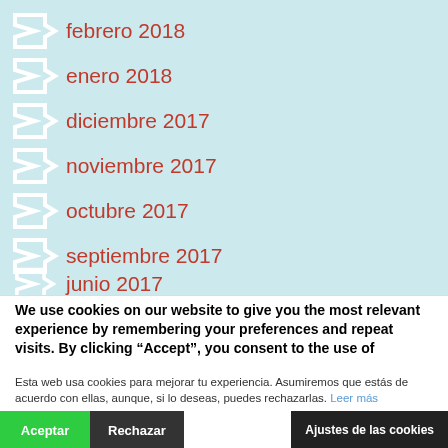febrero 2018
enero 2018
diciembre 2017
noviembre 2017
octubre 2017
septiembre 2017
junio 2017
mayo 2017
abril 2017
We use cookies on our website to give you the most relevant experience by remembering your preferences and repeat visits. By clicking “Accept”, you consent to the use of
Esta web usa cookies para mejorar tu experiencia. Asumiremos que estás de acuerdo con ellas, aunque, si lo deseas, puedes rechazarlas. Leer más
Aceptar | Rechazar | Ajustes de las cookies